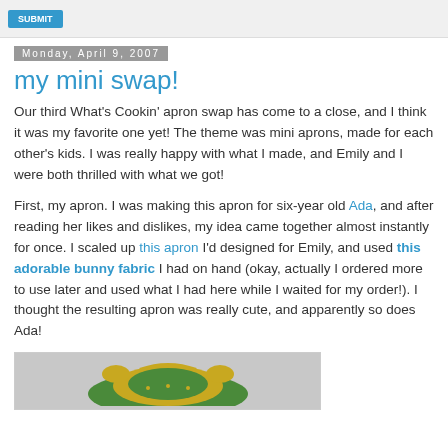[blog navigation bar with button]
Monday, April 9, 2007
my mini swap!
Our third What's Cookin' apron swap has come to a close, and I think it was my favorite one yet! The theme was mini aprons, made for each other's kids. I was really happy with what I made, and Emily and I were both thrilled with what we got!
First, my apron. I was making this apron for six-year old Ada, and after reading her likes and dislikes, my idea came together almost instantly for once. I scaled up this apron I'd designed for Emily, and used this adorable bunny fabric I had on hand (okay, actually I ordered more to use later and used what I had here while I waited for my order!). I thought the resulting apron was really cute, and apparently so does Ada!
[Figure (photo): Photo of a green and gold decorative apron on a grey background]